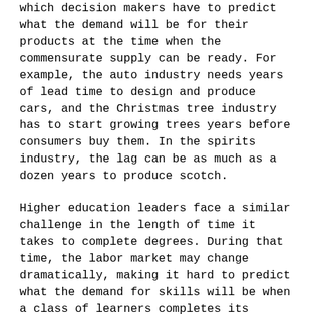which decision makers have to predict what the demand will be for their products at the time when the commensurate supply can be ready. For example, the auto industry needs years of lead time to design and produce cars, and the Christmas tree industry has to start growing trees years before consumers buy them. In the spirits industry, the lag can be as much as a dozen years to produce scotch.
Higher education leaders face a similar challenge in the length of time it takes to complete degrees. During that time, the labor market may change dramatically, making it hard to predict what the demand for skills will be when a class of learners completes its program of study.
To solve this challenge, higher education must work with labor market experts to develop better tools to forecast future labor market demand—and then